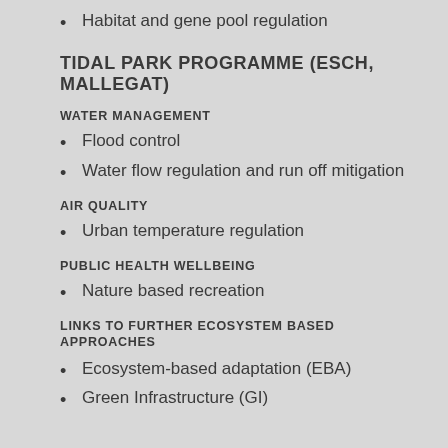Habitat and gene pool regulation
TIDAL PARK PROGRAMME (ESCH, MALLEGAT)
WATER MANAGEMENT
Flood control
Water flow regulation and run off mitigation
AIR QUALITY
Urban temperature regulation
PUBLIC HEALTH WELLBEING
Nature based recreation
LINKS TO FURTHER ECOSYSTEM BASED APPROACHES
Ecosystem-based adaptation (EBA)
Green Infrastructure (GI)